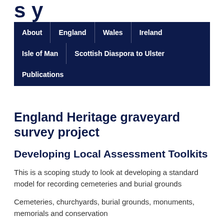Survey
[Figure (screenshot): Navigation menu with dark navy background containing links: About, England, Wales, Ireland, Isle of Man, Scottish Diaspora to Ulster, Publications]
England Heritage graveyard survey project
Developing Local Assessment Toolkits
This is a scoping study to look at developing a standard model for recording cemeteries and burial grounds
Cemeteries, churchyards, burial grounds, monuments, memorials and conservation